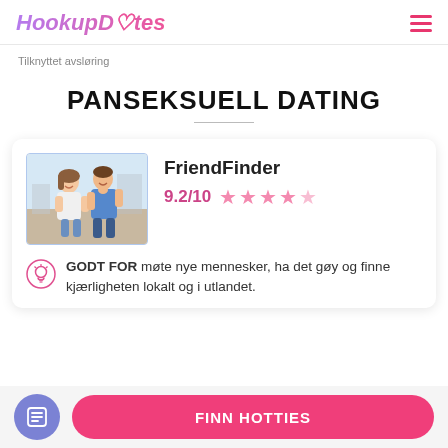HookupDates
Tilknyttet avsløring
PANSEKSUELL DATING
[Figure (photo): Photo of a happy couple – woman and man posing outdoors]
FriendFinder
9.2/10 ★★★★☆
GODT FOR møte nye mennesker, ha det gøy og finne kjærligheten lokalt og i utlandet.
FINN HOTTIES